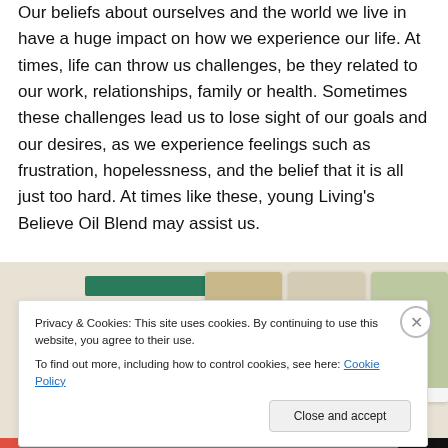Our beliefs about ourselves and the world we live in have a huge impact on how we experience our life. At times, life can throw us challenges, be they related to our work, relationships, family or health. Sometimes these challenges lead us to lose sight of our goals and our desires, as we experience feelings such as frustration, hopelessness, and the belief that it is all just too hard. At times like these, young Living's Believe Oil Blend may assist us.
[Figure (screenshot): Partial screenshot of a website showing a green bar header element and food/recipe photo cards on a beige background]
Privacy & Cookies: This site uses cookies. By continuing to use this website, you agree to their use.
To find out more, including how to control cookies, see here: Cookie Policy